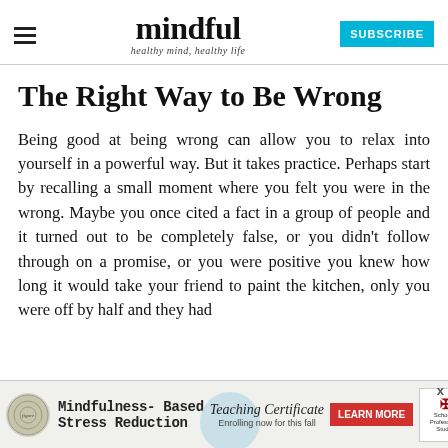mindful — healthy mind, healthy life — SUBSCRIBE
The Right Way to Be Wrong
Being good at being wrong can allow you to relax into yourself in a powerful way. But it takes practice. Perhaps start by recalling a small moment where you felt you were in the wrong. Maybe you once cited a fact in a group of people and it turned out to be completely false, or you didn't follow through on a promise, or you were positive you knew how long it would take your friend to paint the kitchen, only you were off by half and they had
[Figure (advertisement): Ad banner for Mindfulness-Based Stress Reduction Teaching Certificate course, enrolling now for this fall, with Learn More button and School of Professional Studies logo]